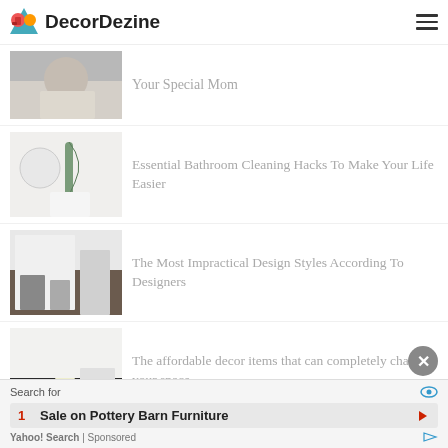DecorDezine
Your Special Mom
Essential Bathroom Cleaning Hacks To Make Your Life Easier
The Most Impractical Design Styles According To Designers
The affordable decor items that can completely change your space
Search for
1  Sale on Pottery Barn Furniture
Yahoo! Search | Sponsored